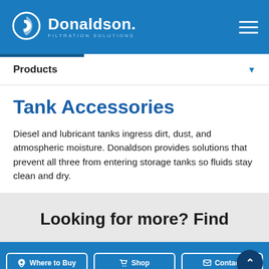Donaldson. FILTRATION SOLUTIONS
Products
Tank Accessories
Diesel and lubricant tanks ingress dirt, dust, and atmospheric moisture. Donaldson provides solutions that prevent all three from entering storage tanks so fluids stay clean and dry.
Looking for more? Find
Where to Buy  Shop  Contact